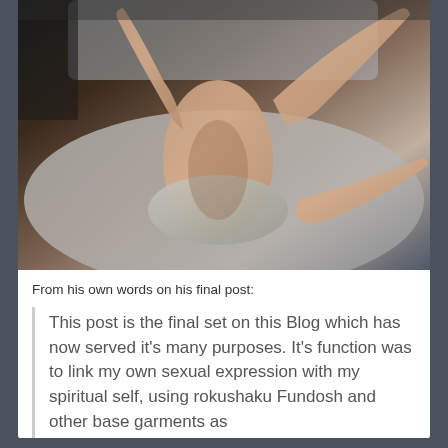[Figure (photo): A person lying on a bed, photographed from above, wearing minimal clothing (underwear/fundoshi-style garment), appearing to be a self-portrait style image]
From his own words on his final post:
This post is the final set on this Blog which has now served it's many purposes. It's function was to link my own sexual expression with my spiritual self, using rokushaku Fundosh and other base garments as